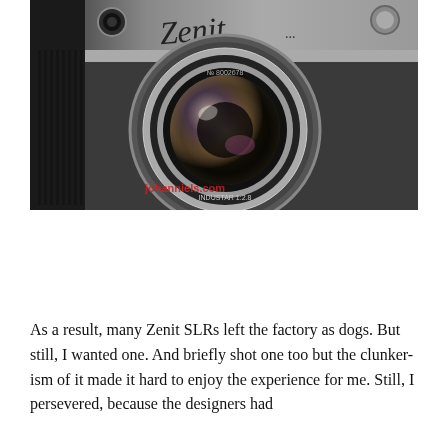[Figure (photo): Close-up photograph of a vintage Zenit SLR camera with a large circular lens in the center. The camera body is silver and black. The word 'Zenit' is written in cursive script on the top. A red watermark text reading 'johanniels.com' appears in the lower left corner of the image. Background is blurred with soft bokeh showing what appears to be stones or objects on a wooden surface.]
As a result, many Zenit SLRs left the factory as dogs. But still, I wanted one. And briefly shot one too but the clunker-ism of it made it hard to enjoy the experience for me. Still, I persevered, because the designers had